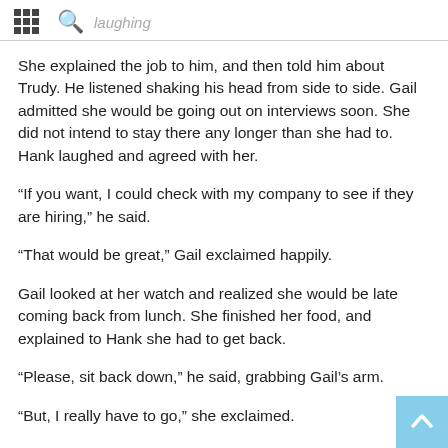laughing
She explained the job to him, and then told him about Trudy.  He listened shaking his head from side to side.  Gail admitted she would be going out on interviews soon.  She did not intend to stay there any longer than she had to.  Hank laughed and agreed with her.
“If you want, I could check with my company to see if they are hiring,” he said.
“That would be great,” Gail exclaimed happily.
Gail looked at her watch and realized she would be late coming back from lunch.  She finished her food, and explained to Hank she had to get back.
“Please, sit back down,” he said, grabbing Gail’s arm.
“But, I really have to go,” she exclaimed.